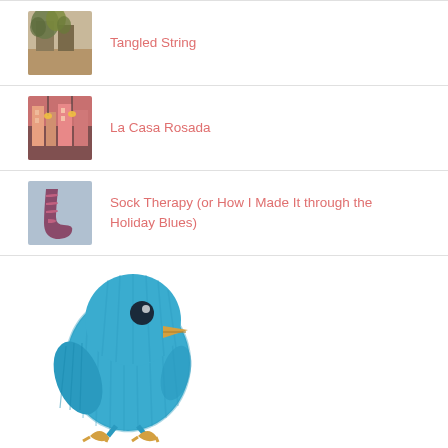Tangled String
La Casa Rosada
Sock Therapy (or How I Made It through the Holiday Blues)
[Figure (illustration): Blue knitted/ribbed toy bird (Twitter-bird style) with golden beak and feet, standing on a white background]